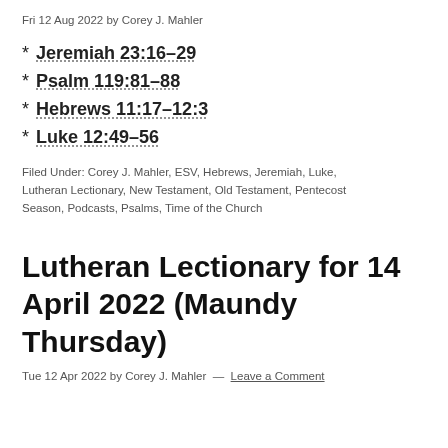Fri 12 Aug 2022 by Corey J. Mahler
* Jeremiah 23:16–29
* Psalm 119:81–88
* Hebrews 11:17–12:3
* Luke 12:49–56
Filed Under: Corey J. Mahler, ESV, Hebrews, Jeremiah, Luke, Lutheran Lectionary, New Testament, Old Testament, Pentecost Season, Podcasts, Psalms, Time of the Church
Lutheran Lectionary for 14 April 2022 (Maundy Thursday)
Tue 12 Apr 2022 by Corey J. Mahler  —  Leave a Comment